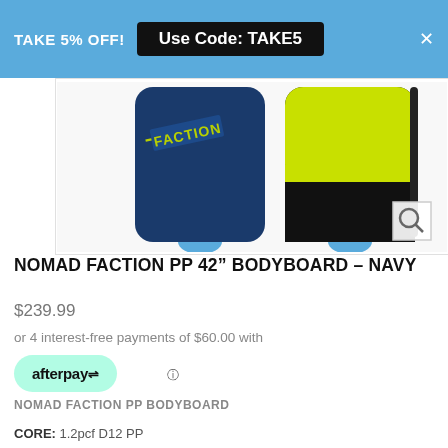TAKE 5% OFF! Use Code: TAKE5
[Figure (photo): Two bodyboards side by side: left board is navy blue with Faction branding, right board is lime yellow/green with black edge, shown from top-down view. A magnifier icon is in the bottom-right of the image.]
NOMAD FACTION PP 42" BODYBOARD – NAVY
$239.99
or 4 interest-free payments of $60.00 with
afterpay
NOMAD FACTION PP BODYBOARD
CORE: 1.2pcf D12 PP